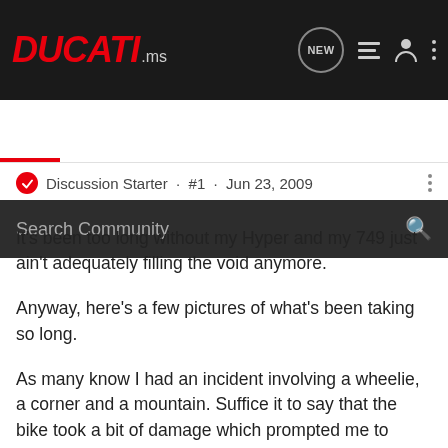[Figure (screenshot): DUCATI.ms website navigation bar with logo, NEW chat bubble icon, list icon, user icon, and three-dots menu icon on dark background]
[Figure (screenshot): Search Community input bar on dark background with magnifying glass icon]
Discussion Starter · #1 · Jun 23, 2009
It's been too long without my Hyper and my 749 just ain't adequately filling the void anymore.
Anyway, here's a few pictures of what's been taking so long.
As many know I had an incident involving a wheelie, a corner and a mountain. Suffice it to say that the bike took a bit of damage which prompted me to FINALLY slap on all the crap I'd been collecting (along with some other stuff I picked up).
Cams, 4-spring slipper and the Brembo billet HP calipers are the big news, but there's also a Scott's damper, NCR mag side